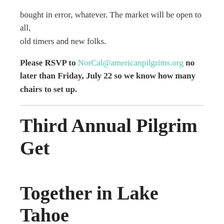bought in error, whatever. The market will be open to all, old timers and new folks.
Please RSVP to NorCal@americanpilgrims.org no later than Friday, July 22 so we know how many chairs to set up.
Third Annual Pilgrim Get Together in Lake Tahoe July 22-24, 2016
David Jennings  is hosting the 3rd Annual Pilgrim Renewal on July 22, 23, 24  at North Lake Tahoe, Mt. Rose Campground (above Incline Village, NV.)  Veteran